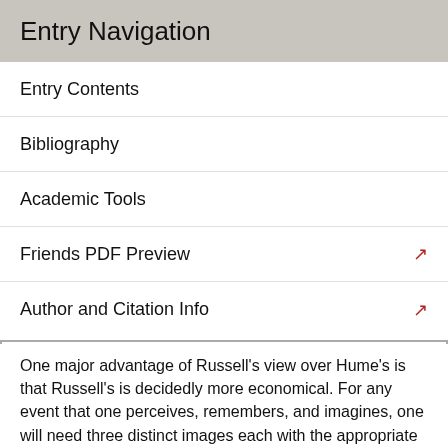Entry Navigation
Entry Contents
Bibliography
Academic Tools
Friends PDF Preview
Author and Citation Info
One major advantage of Russell's view over Hume's is that Russell's is decidedly more economical. For any event that one perceives, remembers, and imagines, one will need three distinct images each with the appropriate level of vivacity and forcefulness. Russell's view, in contrast, sees the difference between the different mental types as coming in the relation to the same representation. Russell's view, or something like it, has become standard in contemporary philosophy of mind: the difference between the thought that p, the desire that p, and the belief that p is taken to be found not in the representation